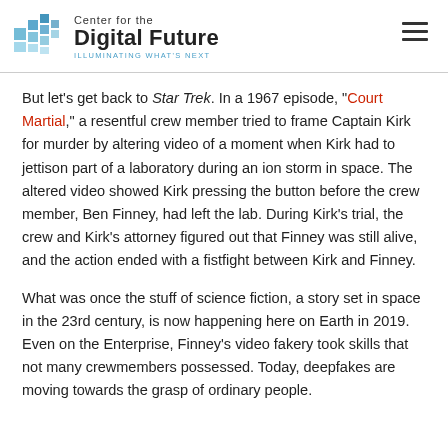Center for the Digital Future — ILLUMINATING WHAT'S NEXT
But let’s get back to Star Trek. In a 1967 episode, “Court Martial,” a resentful crew member tried to frame Captain Kirk for murder by altering video of a moment when Kirk had to jettison part of a laboratory during an ion storm in space. The altered video showed Kirk pressing the button before the crew member, Ben Finney, had left the lab. During Kirk’s trial, the crew and Kirk’s attorney figured out that Finney was still alive, and the action ended with a fistfight between Kirk and Finney.
What was once the stuff of science fiction, a story set in space in the 23rd century, is now happening here on Earth in 2019. Even on the Enterprise, Finney’s video fakery took skills that not many crewmembers possessed. Today, deepfakes are moving towards the grasp of ordinary people.